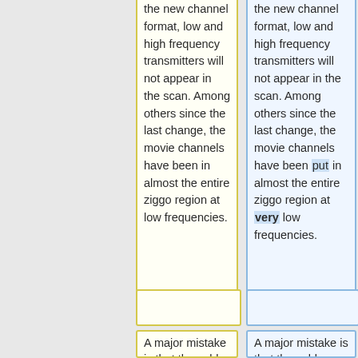the new channel format, low and high frequency transmitters will not appear in the scan. Among others since the last change, the movie channels have been in almost the entire ziggo region at low frequencies.
the new channel format, low and high frequency transmitters will not appear in the scan. Among others since the last change, the movie channels have been put in almost the entire ziggo region at very low frequencies.
A major mistake is that the cable connects to an
A major mistake is that the cable connects to an